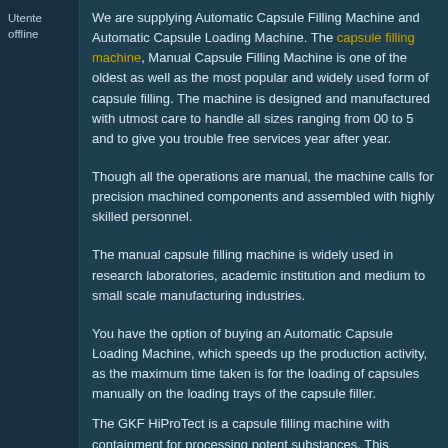Utente offline
We are supplying Automatic Capsule Filling Machine and Automatic Capsule Loading Machine. The capsule filling machine, Manual Capsule Filling Machine is one of the oldest as well as the most popular and widely used form of capsule filling. The machine is designed and manufactured with utmost care to handle all sizes ranging from 00 to 5 and to give you trouble free services year after year.
Though all the operations are manual, the machine calls for precision machined components and assembled with highly skilled personnel.
The manual capsule filling machine is widely used in research laboratories, academic institution and medium to small scale manufacturing industries.
You have the option of buying an Automatic Capsule Loading Machine, which speeds up the production activity, as the maximum time taken is for the loading of capsules manually on the loading trays of the capsule filler.
The GKF HiProTect is a capsule filling machine with containment for processing potent substances. This